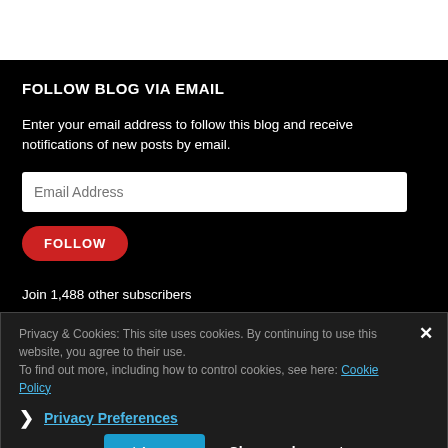FOLLOW BLOG VIA EMAIL
Enter your email address to follow this blog and receive notifications of new posts by email.
Join 1,488 other subscribers
Privacy & Cookies: This site uses cookies. By continuing to use this website, you agree to their use.
To find out more, including how to control cookies, see here: Cookie Policy
Privacy Preferences
I Agree
Close and accept
Powered by WordPress.com